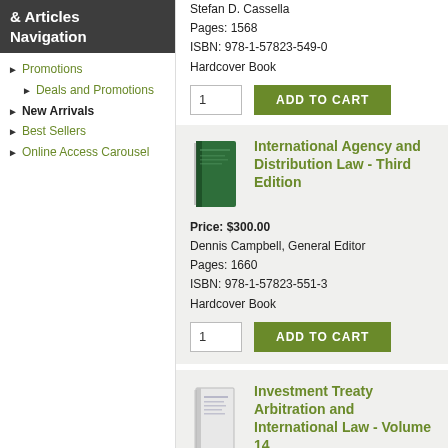Navigation
Promotions
Deals and Promotions
New Arrivals
Best Sellers
Online Access Carousel
Stefan D. Cassella
Pages: 1568
ISBN: 978-1-57823-549-0
Hardcover Book
International Agency and Distribution Law - Third Edition
Price: $300.00
Dennis Campbell, General Editor
Pages: 1660
ISBN: 978-1-57823-551-3
Hardcover Book
Investment Treaty Arbitration and International Law - Volume 14
All Juris arbitration titles are exclusively available for purchase or research at Juris ArbitrationLaw.com.
Mariam N. Alrashid, Kabir Duggal, Miriam Harwood